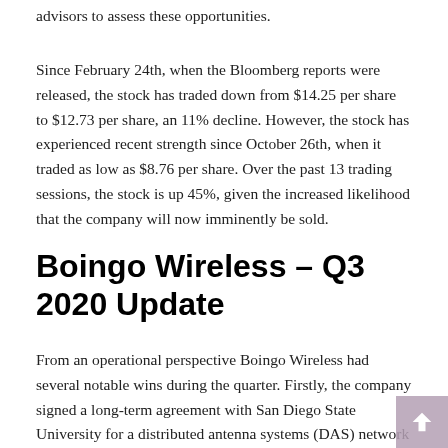advisors to assess these opportunities.
Since February 24th, when the Bloomberg reports were released, the stock has traded down from $14.25 per share to $12.73 per share, an 11% decline. However, the stock has experienced recent strength since October 26th, when it traded as low as $8.76 per share. Over the past 13 trading sessions, the stock is up 45%, given the increased likelihood that the company will now imminently be sold.
Boingo Wireless – Q3 2020 Update
From an operational perspective Boingo Wireless had several notable wins during the quarter. Firstly, the company signed a long-term agreement with San Diego State University for a distributed antenna systems (DAS) network at its football